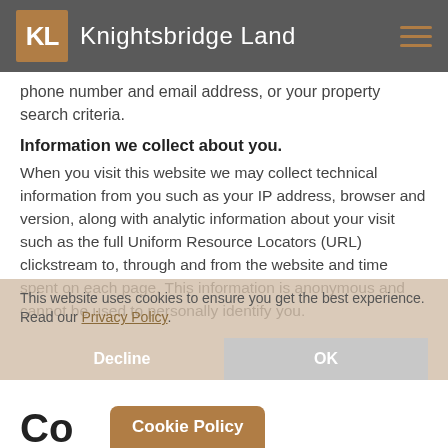KL Knightsbridge Land
phone number and email address, or your property search criteria.
Information we collect about you.
When you visit this website we may collect technical information from you such as your IP address, browser and version, along with analytic information about your visit such as the full Uniform Resource Locators (URL) clickstream to, through and from the website and time spent on each page. This information is anonymous and cannot be used to personally identify you.
This website uses cookies to ensure you get the best experience. Read our Privacy Policy.
Decline
OK
Cookie Policy
Co